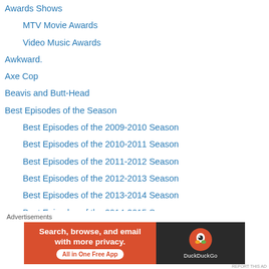Awards Shows
MTV Movie Awards
Video Music Awards
Awkward.
Axe Cop
Beavis and Butt-Head
Best Episodes of the Season
Best Episodes of the 2009-2010 Season
Best Episodes of the 2010-2011 Season
Best Episodes of the 2011-2012 Season
Best Episodes of the 2012-2013 Season
Best Episodes of the 2013-2014 Season
Best Episodes of the 2014-2015 Season
Best of TV 2014
Best of TV 2015
Best of TV 2016
Best of TV 2017
Advertisements
[Figure (screenshot): DuckDuckGo advertisement banner: 'Search, browse, and email with more privacy. All in One Free App' with DuckDuckGo logo on dark background]